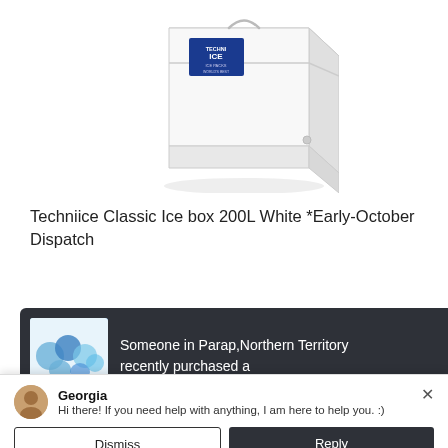[Figure (photo): Product photo of a white Techniice Classic Ice box cooler, rectangular shape with a blue Techniice logo on the front, shown at a slight angle on a white background.]
Techniice Classic Ice box 200L White *Early-October Dispatch
[Figure (screenshot): Dark notification popup bar showing blue and white ice pack image on the left, with text: 'Someone in Parap, Northern Territory recently purchased a' and an X close button on the right.]
[Figure (screenshot): Chat widget with avatar of Georgia, message 'Hi there! If you need help with anything, I am here to help you. :)' and two buttons: Dismiss and Reply.]